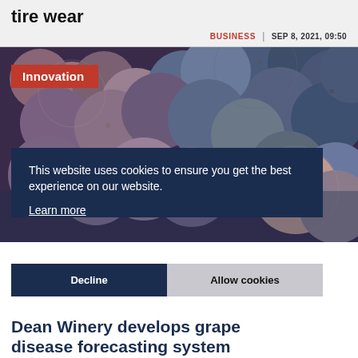tire wear
BUSINESS  |  SEP 8, 2021, 09:50
[Figure (photo): Close-up photograph of clusters of dark purple/blue grapes with an 'Innovation' red badge overlay in the top-left corner.]
This website uses cookies to ensure you get the best experience on our website.
Learn more
Decline   Allow cookies
Dean Winery develops grape disease forecasting system